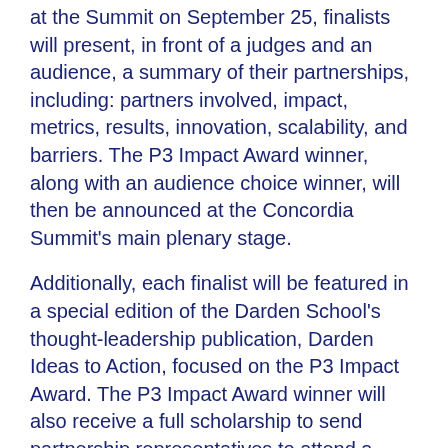at the Summit on September 25, finalists will present, in front of a judges and an audience, a summary of their partnerships, including: partners involved, impact, metrics, results, innovation, scalability, and barriers. The P3 Impact Award winner, along with an audience choice winner, will then be announced at the Concordia Summit's main plenary stage.
Additionally, each finalist will be featured in a special edition of the Darden School's thought-leadership publication, Darden Ideas to Action, focused on the P3 Impact Award. The P3 Impact Award winner will also receive a full scholarship to send partnership representatives to attend a weeklong Darden Executive Education course.
For further information, please contact the Office of Global Partnerships at partnerships@state.gov or visit http://www.state.gov/s/partnerships/. For media inquiries, please contact Anita Ostrovsky at ostrovskya@state.gov.
Follow @GPatState, @IBiS_Darden, @ConcordiaSummit, and #P3Impact on Twitter for